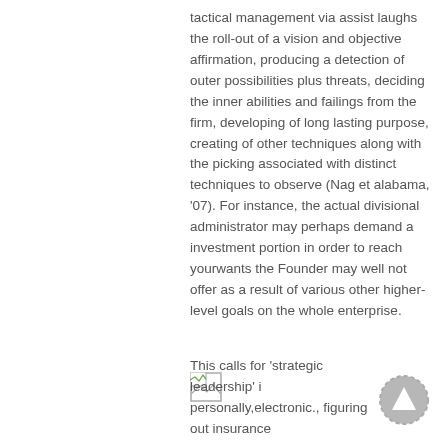tactical management via assist laughs the roll-out of a vision and objective affirmation, producing a detection of outer possibilities plus threats, deciding the inner abilities and failings from the firm, developing of long lasting purpose, creating of other techniques along with the picking associated with distinct techniques to observe (Nag et alabama, '07). For instance, the actual divisional administrator may perhaps demand a investment portion in order to reach yourwants the Founder may well not offer as a result of various other higher-level goals on the whole enterprise.
[Figure (illustration): Broken image icon]
This calls for 'strategic leadership' i personally,electronic., figuring out insurance